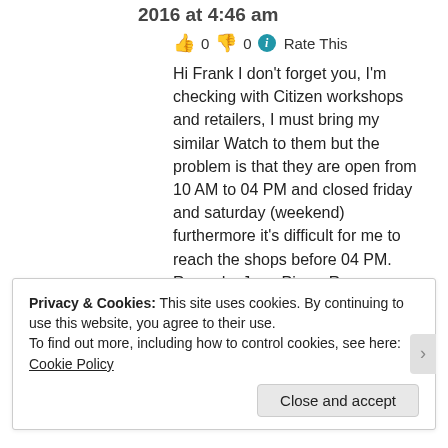2016 at 4:46 am
👍 0 👎 0 ℹ Rate This
Hi Frank I don't forget you, I'm checking with Citizen workshops and retailers, I must bring my similar Watch to them but the problem is that they are open from 10 AM to 04 PM and closed friday and saturday (weekend) furthermore it's difficult for me to reach the shops before 04 PM.
Regards. Jean Pierre Rovere
★ Like
Privacy & Cookies: This site uses cookies. By continuing to use this website, you agree to their use.
To find out more, including how to control cookies, see here: Cookie Policy
Close and accept